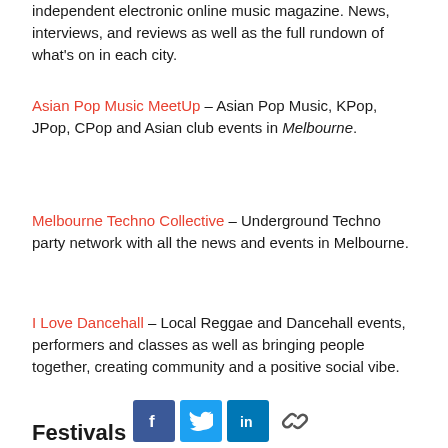independent electronic online music magazine. News, interviews, and reviews as well as the full rundown of what's on in each city.
Asian Pop Music MeetUp – Asian Pop Music, KPop, JPop, CPop and Asian club events in Melbourne.
Melbourne Techno Collective – Underground Techno party network with all the news and events in Melbourne.
I Love Dancehall – Local Reggae and Dancehall events, performers and classes as well as bringing people together, creating community and a positive social vibe.
Festivals
[Figure (infographic): Social media share icons: Facebook (blue), Twitter (light blue), LinkedIn (blue), and a chain/link icon]